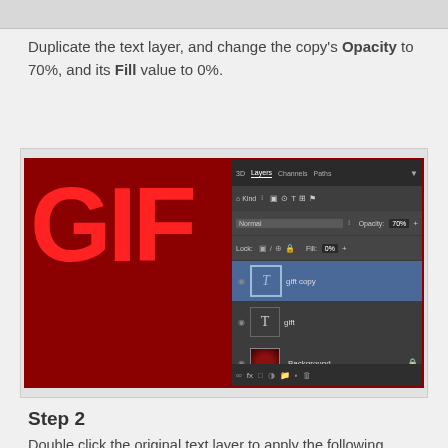Duplicate the text layer, and change the copy's Opacity to 70%, and its Fill value to 0%.
[Figure (screenshot): Screenshot of a Photoshop workspace showing red letters 'GIF' on a dark red background, alongside the Photoshop Layers panel with layers: 'gift copy' (Opacity 70%, Fill 0%), 'gift', and 'Background'. The Layers panel shows Normal blend mode, Opacity at 70%, Fill at 0%.]
Step 2
Double click the original text layer to apply the following